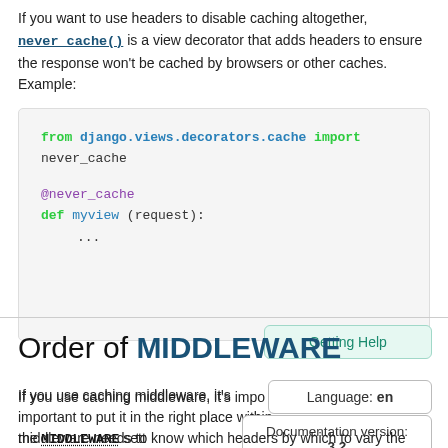If you want to use headers to disable caching altogether, never_cache() is a view decorator that adds headers to ensure the response won't be cached by browsers or other caches. Example:
[Figure (screenshot): Python code block showing: from django.views.decorators.cache import never_cache, then @never_cache decorator applied to def myview(request): with ellipsis body]
Order of MIDDLEWARE
If you use caching middleware, it's important to put it in the right place within the MIDDLEWARE setting. middleware needs to know which headers by which to vary the cache